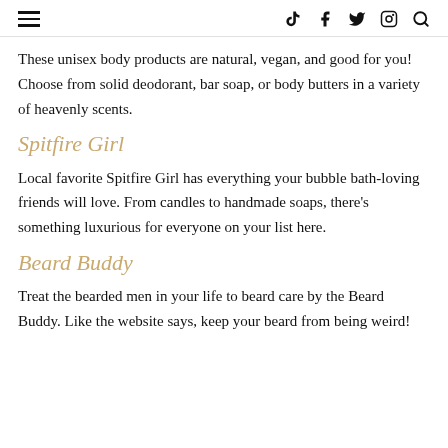≡  tiktok  facebook  twitter  instagram  search
These unisex body products are natural, vegan, and good for you! Choose from solid deodorant, bar soap, or body butters in a variety of heavenly scents.
Spitfire Girl
Local favorite Spitfire Girl has everything your bubble bath-loving friends will love. From candles to handmade soaps, there's something luxurious for everyone on your list here.
Beard Buddy
Treat the bearded men in your life to beard care by the Beard Buddy. Like the website says, keep your beard from being weird!